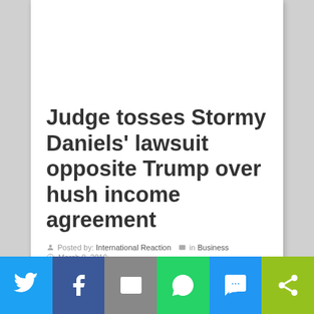Judge tosses Stormy Daniels' lawsuit opposite Trump over hush income agreement
Posted by: International Reaction   in Business
March 8, 2019
Comments Off
on Judge tosses Stormy Daniels' lawsuit opposite Trump over hush income agreement
6 Views
'};var a = q[r.size_id].split("x").map((function(e)
[Figure (infographic): Social sharing bar with Twitter, Facebook, Email, WhatsApp, SMS, and ShareThis buttons]